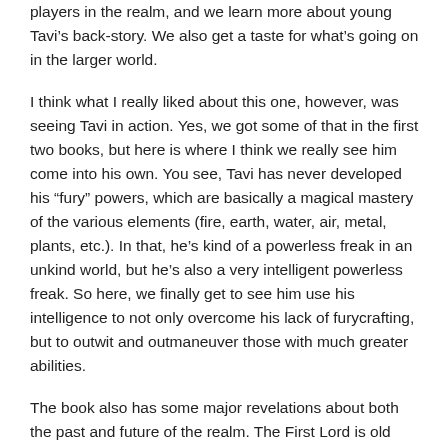players in the realm, and we learn more about young Tavi's back-story. We also get a taste for what's going on in the larger world.
I think what I really liked about this one, however, was seeing Tavi in action. Yes, we got some of that in the first two books, but here is where I think we really see him come into his own. You see, Tavi has never developed his “fury” powers, which are basically a magical mastery of the various elements (fire, earth, water, air, metal, plants, etc.). In that, he’s kind of a powerless freak in an unkind world, but he’s also a very intelligent powerless freak. So here, we finally get to see him use his intelligence to not only overcome his lack of furycrafting, but to outwit and outmaneuver those with much greater abilities.
The book also has some major revelations about both the past and future of the realm. The First Lord is old and without an heir, and this book finally opened up the door on some new possibilities of what is going to happen when the old man finally dies. It left us with a teaser,